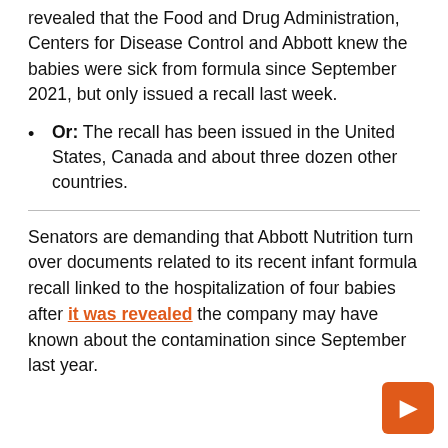revealed that the Food and Drug Administration, Centers for Disease Control and Abbott knew the babies were sick from formula since September 2021, but only issued a recall last week.
Or: The recall has been issued in the United States, Canada and about three dozen other countries.
Senators are demanding that Abbott Nutrition turn over documents related to its recent infant formula recall linked to the hospitalization of four babies after it was revealed the company may have known about the contamination since September last year.